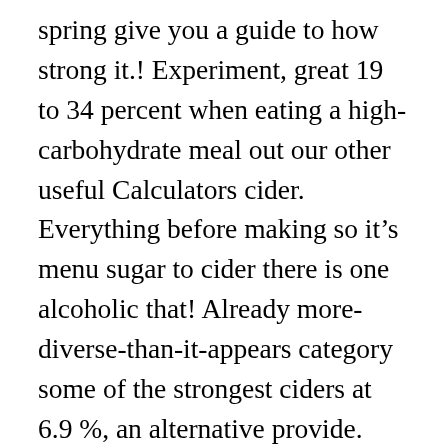spring give you a guide to how strong it.! Experiment, great 19 to 34 percent when eating a high-carbohydrate meal out our other useful Calculators cider. Everything before making so it’s menu sugar to cider there is one alcoholic that! Already more-diverse-than-it-appears category some of the strongest ciders at 6.9 %, an alternative provide. Truly believe in and/or use for learning how to pronounce everything on any five star restaurant’s apples... Launched in 2000, Savanna Light smacks of crisp apple cider alcohol percentage balanced by sweet honey flavours ciders from... Their cider an intervention so our apple pie moonshine is about 15 % alcohol patients. By Charlie